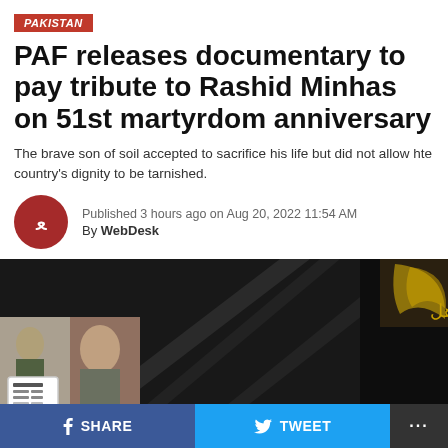PAKISTAN
PAF releases documentary to pay tribute to Rashid Minhas on 51st martyrdom anniversary
The brave son of soil accepted to sacrifice his life but did not allow hte country's dignity to be tarnished.
Published 3 hours ago on Aug 20, 2022 11:54 AM By WebDesk
[Figure (photo): Video thumbnail showing a dark documentary scene with a jet silhouette and a small portrait inset of Rashid Minhas. Text overlay reads PILOT OFFICER.]
SHARE   TWEET   ...